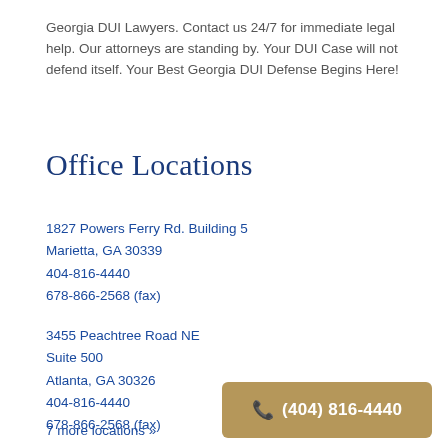Georgia DUI Lawyers. Contact us 24/7 for immediate legal help. Our attorneys are standing by. Your DUI Case will not defend itself. Your Best Georgia DUI Defense Begins Here!
Office Locations
1827 Powers Ferry Rd. Building 5
Marietta, GA 30339
404-816-4440
678-866-2568 (fax)
3455 Peachtree Road NE
Suite 500
Atlanta, GA 30326
404-816-4440
678-866-2568 (fax)
7 more locations »
📞 (404) 816-4440